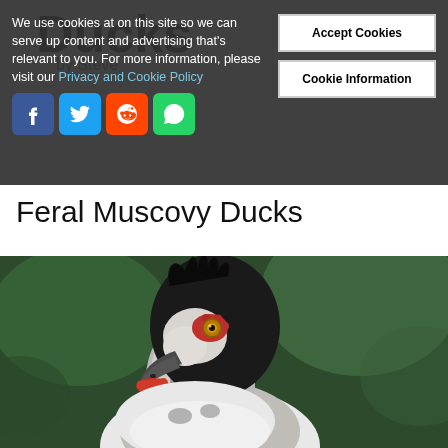Ducks
by Steve
We use cookies at on this site so we can serve up content and advertising that's relevant to you. For more information, please visit our Privacy and Cookie Policy
[Figure (screenshot): Social media sharing icons: Facebook, Twitter, Reddit, WhatsApp]
Accept Cookies
Cookie Information
Feral Muscovy Ducks
[Figure (photo): Close-up portrait of a Feral Muscovy Duck showing its distinctive black and white plumage, red caruncles around the eye and beak, orange-yellow eye, and ruffled crest feathers, set against a blurred green background.]